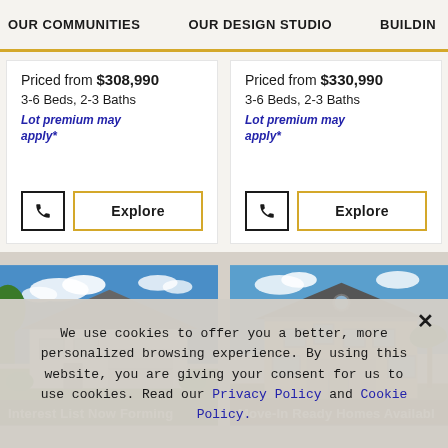OUR COMMUNITIES | OUR DESIGN STUDIO | BUILDIN
Priced from $308,990
3-6 Beds, 2-3 Baths
Lot premium may apply*
Priced from $330,990
3-6 Beds, 2-3 Baths
Lot premium may apply*
[Figure (photo): Single-story white house with gray roof, garage, blue sky and trees in background. Label: Interest List Now Forming]
[Figure (photo): Two-story beige/tan house with dark roof and shutters, palm trees. Label: Move-In Ready Homes Availabl]
We use cookies to offer you a better, more personalized browsing experience. By using this website, you are giving your consent for us to use cookies. Read our Privacy Policy and Cookie Policy.